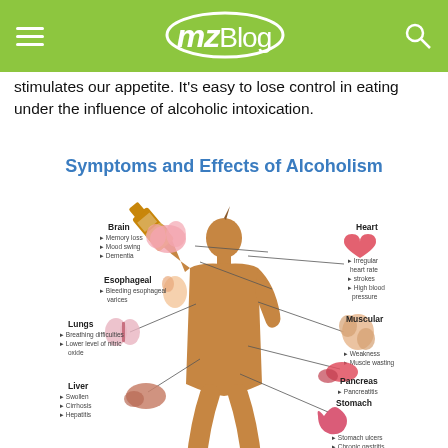mzBlog
stimulates our appetite. It's easy to lose control in eating under the influence of alcoholic intoxication.
[Figure (infographic): Infographic titled 'Symptoms and Effects of Alcoholism' showing a silhouette of a man drinking from a bottle, with labeled organ diagrams and effects: Brain (Memory loss, Mood swing, Dementia), Esophageal (Bleeding esophageal varices), Lungs (Breathing difficulties, Lower level of nitric oxide), Liver (Swollen, Cirrhosis, Hepatitis), Heart (Irregular heart rate, strokes, High blood pressure), Muscular (Weakness, Muscle wasting), Pancreas (Pancreatitis), Stomach (Stomach ulcers, Chronic gastritis, Vomiting)]